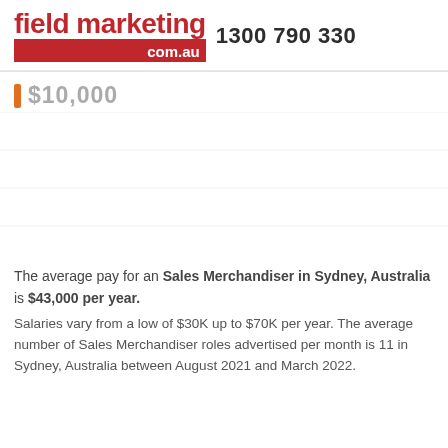field marketing com.au  1300 790 330
[Figure (other): Partial bar chart showing salary data, with an orange bar stub visible and partially cropped text showing a dollar amount (e.g. $10,000 or similar)]
The average pay for an Sales Merchandiser in Sydney, Australia is $43,000 per year. Salaries vary from a low of $30K up to $70K per year. The average number of Sales Merchandiser roles advertised per month is 11 in Sydney, Australia between August 2021 and March 2022.